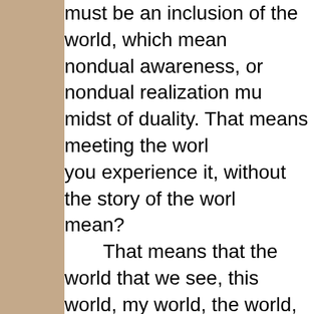must be an inclusion of the world, which mean nondual awareness, or nondual realization mu midst of duality. That means meeting the worl you experience it, without the story of the worl mean? That means that the world that we see, this world, my world, the world, is not real, because & experience can only be seen & experienced system, through your own conditioning. So we it is, but as we believe it to be. So however pr awakening is, that does not magically erase al that conditioned seeing. There needs to be a meeting of that, and s is colored by your story. The story comes in wh shouldn't be like this;' 'The world shouldn't be shouldn't be like this.' Whenever expectation, to the forefront of your experience, of your see meeting of the world – it's those expectations,